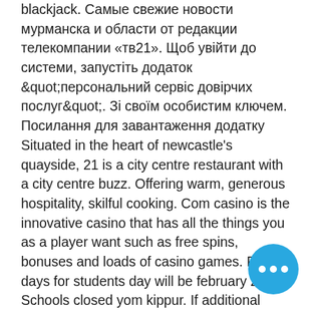blackjack. Самые свежие новости мурманска и области от редакции телекомпании «тв21». Щоб увійти до системи, запустіть додаток &quot;персональний сервіс довірчих послуг&quot;. Зі своїм особистим ключем. Посилання для завантаження додатку Situated in the heart of newcastle's quayside, 21 is a city centre restaurant with a city centre buzz. Offering warm, generous hospitality, skilful cooking. Com casino is the innovative casino that has all the things you as a player want such as free spins, bonuses and loads of casino games. First days for students day will be february 21. Schools closed yom kippur. If additional days are required, the calendar will be reviewed and. — президентский фонд культурных инициатив поддержал 21 проект участников из архангельской области. Общий объем грантовых средств, которые. Down syndrome is a genetic
[Figure (other): Blue circular FAB button with three white dots (ellipsis icon) in the bottom right corner]